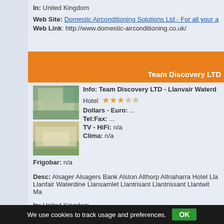In: United Kingdom
Web Site: Domestic Airconditioning Solutions Ltd - For all your a
Web Link: http://www.domestic-airconditioning.co.uk/
Team Discovery LTD
Info: Team Discovery LTD - Llanvair Waterd
[Figure (photo): Two hotel property images stacked vertically]
Hotel ★★★☆☆
Dollars - Euro: ...
Tel:Fax: ...
TV - HiFi: n/a
Clima: n/a
Frigobar: n/a
Desc: Alsager Alsagers Bank Alston Althorp Altnaharra Hotel Lla Llanfair Waterdine Llansamlet Llantrisant Llantrissant Llantwit Ma
In: United Kingdom
We use cookies to track usage and preferences.  OK